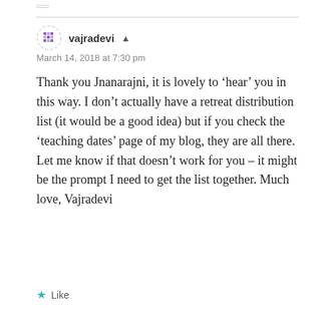vajradevi
March 14, 2018 at 7:30 pm
Thank you Jnanarajni, it is lovely to ‘hear’ you in this way. I don’t actually have a retreat distribution list (it would be a good idea) but if you check the ‘teaching dates’ page of my blog, they are all there. Let me know if that doesn’t work for you – it might be the prompt I need to get the list together. Much love, Vajradevi
Like